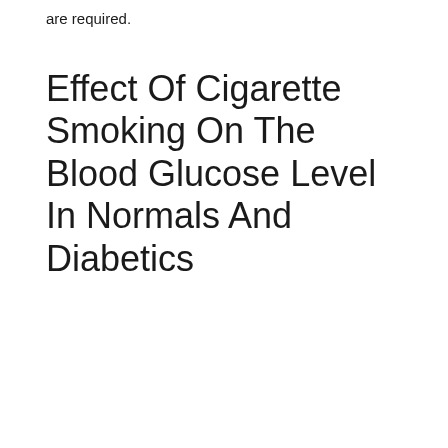are required.
Effect Of Cigarette Smoking On The Blood Glucose Level In Normals And Diabetics